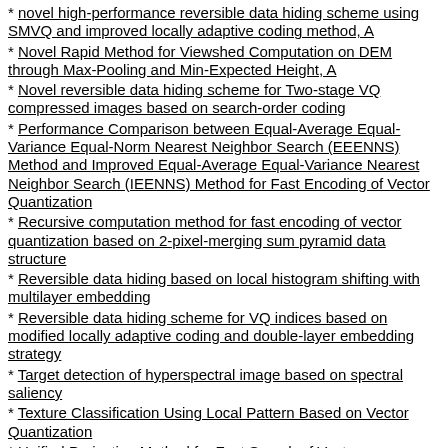* novel high-performance reversible data hiding scheme using SMVQ and improved locally adaptive coding method, A
* Novel Rapid Method for Viewshed Computation on DEM through Max-Pooling and Min-Expected Height, A
* Novel reversible data hiding scheme for Two-stage VQ compressed images based on search-order coding
* Performance Comparison between Equal-Average Equal-Variance Equal-Norm Nearest Neighbor Search (EEENNS) Method and Improved Equal-Average Equal-Variance Nearest Neighbor Search (IEENNS) Method for Fast Encoding of Vector Quantization
* Recursive computation method for fast encoding of vector quantization based on 2-pixel-merging sum pyramid data structure
* Reversible data hiding based on local histogram shifting with multilayer embedding
* Reversible data hiding scheme for VQ indices based on modified locally adaptive coding and double-layer embedding strategy
* Target detection of hyperspectral image based on spectral saliency
* Texture Classification Using Local Pattern Based on Vector Quantization
* Unified Projection Method for Fast Search of Vector